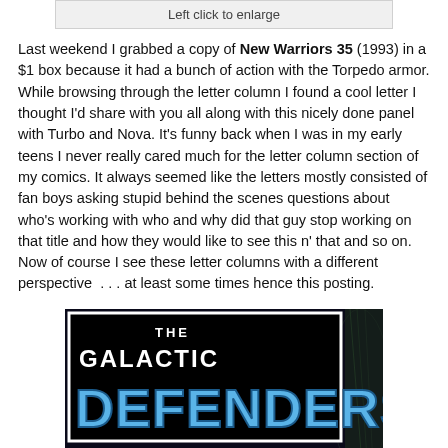Left click to enlarge
Last weekend I grabbed a copy of New Warriors 35 (1993) in a $1 box because it had a bunch of action with the Torpedo armor. While browsing through the letter column I found a cool letter I thought I'd share with you all along with this nicely done panel with Turbo and Nova. It's funny back when I was in my early teens I never really cared much for the letter column section of my comics. It always seemed like the letters mostly consisted of fan boys asking stupid behind the scenes questions about who's working with who and why did that guy stop working on that title and how they would like to see this n' that and so on. Now of course I see these letter columns with a different perspective  . . . at least some times hence this posting.
[Figure (photo): Comic book cover or panel showing 'THE GALACTIC DEFENDERS' logo on a dark space background with cosmic imagery and fire/explosion elements at the bottom]